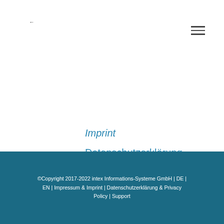←
Imprint
Datenschutzerklärung / Privacy Policy
Support
©Copyright 2017-2022 intex Informations-Systeme GmbH | DE | EN | Impressum & Imprint | Datenschutzerklärung & Privacy Policy | Support